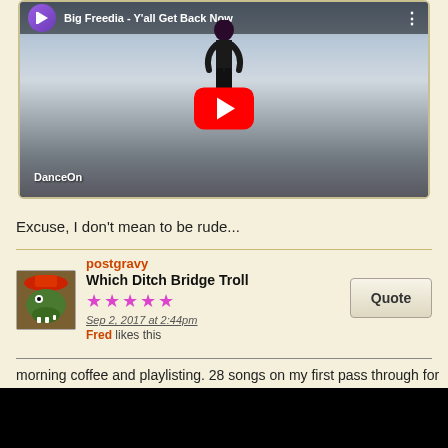[Figure (screenshot): YouTube video thumbnail for 'Big Freedia - Y'all Get Back Now' by DanceOn, showing a dancer figure against a cloudy sky with a red YouTube play button in the center]
Excuse, I don't mean to be rude...
postgravy
Which Ditch Bridge Troll
★★★★★
Sep 2, 2017 at 2:44pm
Fred likes this
morning coffee and playlisting. 28 songs on my first pass through for ass